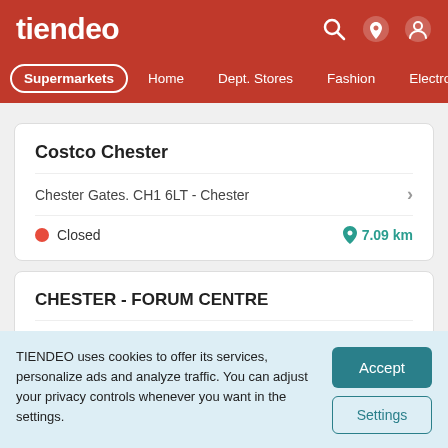tiendeo
Supermarkets | Home | Dept. Stores | Fashion | Electronics
Costco Chester
Chester Gates. CH1 6LT - Chester
Closed  7.09 km
CHESTER - FORUM CENTRE
Forum Center. CH1 2BY - Chester
TIENDEO uses cookies to offer its services, personalize ads and analyze traffic. You can adjust your privacy controls whenever you want in the settings.